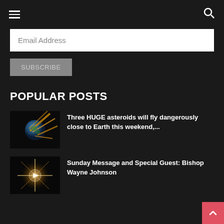Navigation header with hamburger menu and search icon
Email Address
SUBSCRIBE
POPULAR POSTS
[Figure (photo): Artistic image of Earth with asteroids flying past in golden light]
Three HUGE asteroids will fly dangerously close to Earth this weekend,...
[Figure (photo): Glowing cross or star burst image with play button overlay, golden light on dark background]
Sunday Message and Special Guest: Bishop Wayne Johnson